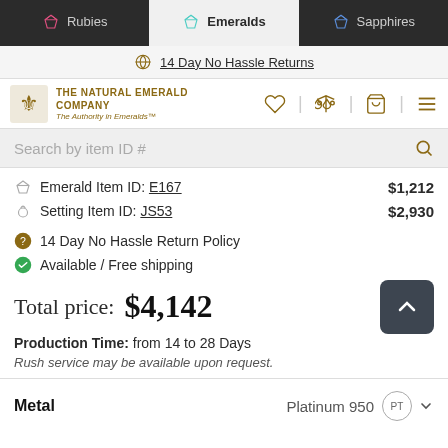Rubies | Emeralds | Sapphires
14 Day No Hassle Returns
[Figure (logo): The Natural Emerald Company crest logo with text 'THE NATURAL EMERALD COMPANY - The Authority in Emeralds']
Search by item ID #
Emerald Item ID: E167   $1,212
Setting Item ID: JS53   $2,930
14 Day No Hassle Return Policy
Available / Free shipping
Total price: $4,142
Production Time: from 14 to 28 Days
Rush service may be available upon request.
Metal   Platinum 950   PT